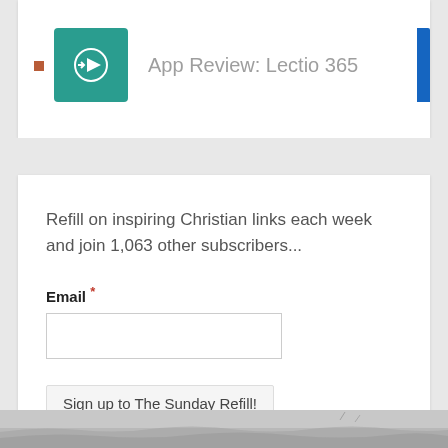App Review: Lectio 365
Refill on inspiring Christian links each week and join 1,063 other subscribers...
Email *
Sign up to The Sunday Refill!
[Figure (screenshot): Footer image showing a faded seascape or landscape photograph at the bottom of the page]